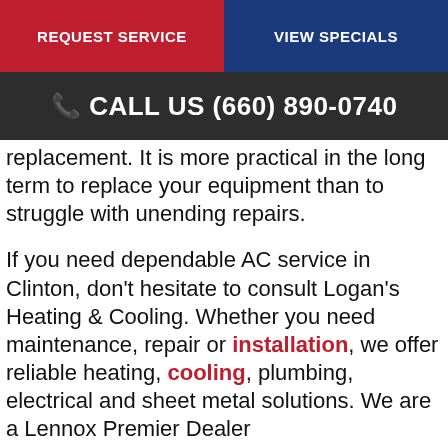REQUEST SERVICE | VIEW SPECIALS
CALL US (660) 890-0740
replacement. It is more practical in the long term to replace your equipment than to struggle with unending repairs.
If you need dependable AC service in Clinton, don't hesitate to consult Logan's Heating & Cooling. Whether you need maintenance, repair or installation, we offer reliable heating, cooling, plumbing, electrical and sheet metal solutions. We are a Lennox Premier Dealer